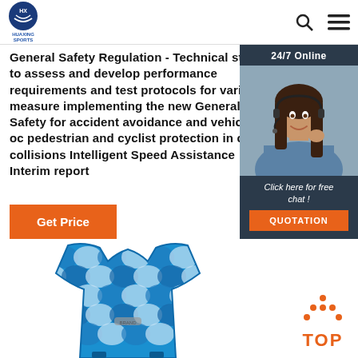HUAXING SPORTS
General Safety Regulation - Technical study to assess and develop performance requirements and test protocols for various measures implementing the new General Safety for accident avoidance and vehicle oc pedestrian and cyclist protection in ca collisions Intelligent Speed Assistance Interim report
Get Price
[Figure (photo): Chat widget showing a woman with headset, '24/7 Online' header, 'Click here for free chat!' text, and QUOTATION button]
[Figure (photo): Blue patterned sports safety vest/life jacket product photo]
[Figure (other): TOP navigation button with orange dots forming an upward arrow above the word TOP in orange]